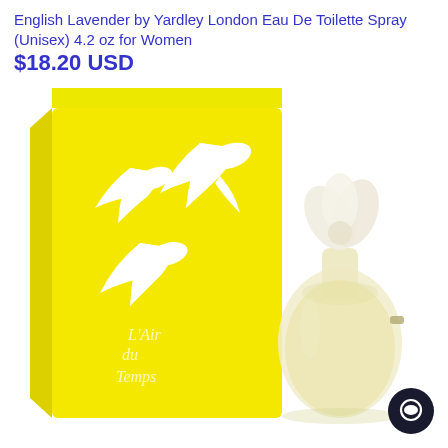English Lavender by Yardley London Eau De Toilette Spray (Unisex) 4.2 oz for Women
$18.20 USD
[Figure (photo): Product photo showing a bright yellow box with white dove logo and cursive 'L'Air du Temps' text, alongside a glass perfume bottle with a white floral/dove stopper cap. Background is white.]